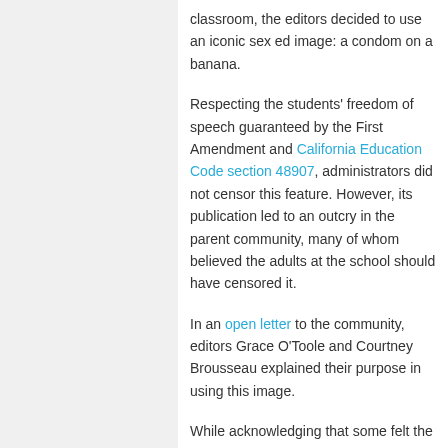classroom, the editors decided to use an iconic sex ed image: a condom on a banana.
Respecting the students' freedom of speech guaranteed by the First Amendment and California Education Code section 48907, administrators did not censor this feature. However, its publication led to an outcry in the parent community, many of whom believed the adults at the school should have censored it.
In an open letter to the community, editors Grace O'Toole and Courtney Brousseau explained their purpose in using this image.
While acknowledging that some felt the